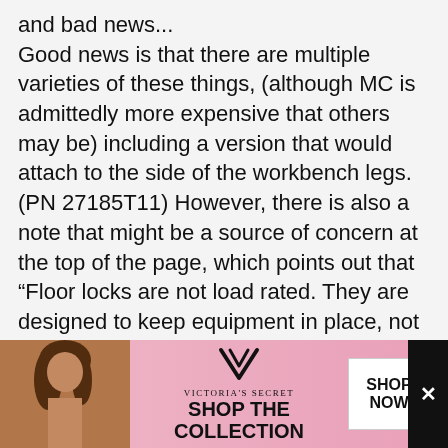and bad news...
Good news is that there are multiple varieties of these things, (although MC is admittedly more expensive that others may be) including a version that would attach to the side of the workbench legs. (PN 27185T11) However, there is also a note that might be a source of concern at the top of the page, which points out that “Floor locks are not load rated. They are designed to keep equipment in place, not for lifting
[Figure (other): Victoria's Secret advertisement banner with a model, the Victoria's Secret logo, 'SHOP THE COLLECTION' text, and a 'SHOP NOW' button.]